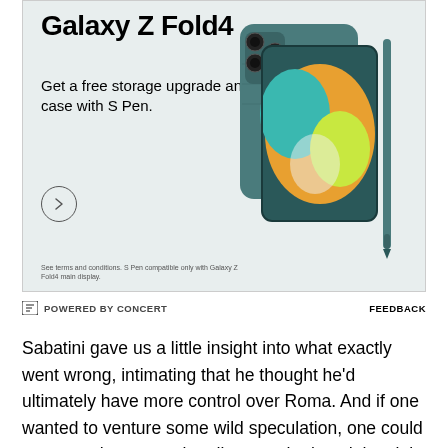[Figure (advertisement): Samsung Galaxy Z Fold4 advertisement showing the phone and case in teal/grey color with S Pen. Text reads 'Galaxy Z Fold4 - Get a free storage upgrade and case with S Pen.' with a circular arrow button and fine print at bottom.]
POWERED BY CONCERT
FEEDBACK
Sabatini gave us a little insight into what exactly went wrong, intimating that he thought he'd ultimately have more control over Roma. And if one wanted to venture some wild speculation, one could presume that a sporting director who loved the club with every fiber of his being was a bit irked when his motives were questioned by an owner who goes to Rome about as often as one gets their teeth cleaned. And if one